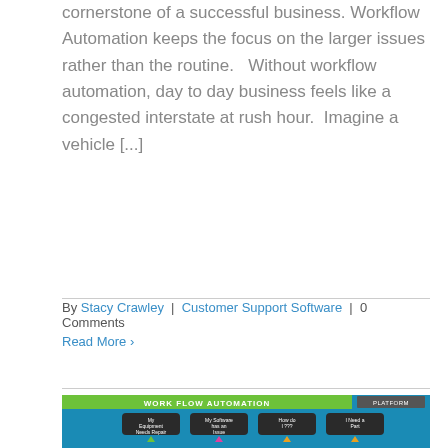cornerstone of a successful business. Workflow Automation keeps the focus on the larger issues rather than the routine.   Without workflow automation, day to day business feels like a congested interstate at rush hour.  Imagine a vehicle [...]
By Stacy Crawley | Customer Support Software | 0 Comments
Read More ›
[Figure (infographic): Work Flow Automation infographic showing requests coming into support department via Email, Phone, Website channels and being tracked and organized by Sharenet Work Flow. Teal/blue background with green and orange accents.]